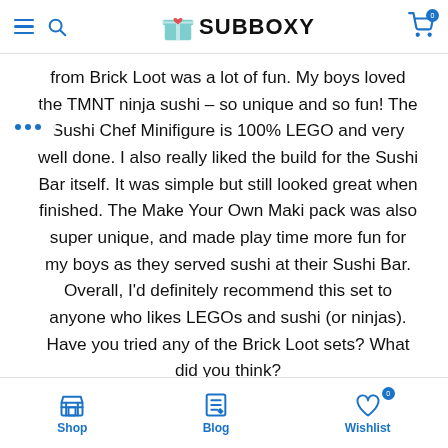SUBBOXY
from Brick Loot was a lot of fun. My boys loved the TMNT ninja sushi – so unique and so fun! The Sushi Chef Minifigure is 100% LEGO and very well done. I also really liked the build for the Sushi Bar itself. It was simple but still looked great when finished. The Make Your Own Maki pack was also super unique, and made play time more fun for my boys as they served sushi at their Sushi Bar. Overall, I'd definitely recommend this set to anyone who likes LEGOs and sushi (or ninjas). Have you tried any of the Brick Loot sets? What did you think?
Shop  Blog  Wishlist